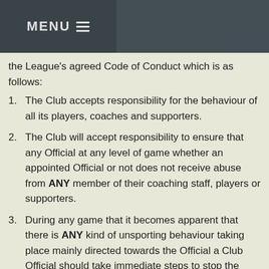MENU
the League's agreed Code of Conduct which is as follows:
The Club accepts responsibility for the behaviour of all its players, coaches and supporters.
The Club will accept responsibility to ensure that any Official at any level of game whether an appointed Official or not does not receive abuse from ANY member of their coaching staff, players or supporters.
During any game that it becomes apparent that there is ANY kind of unsporting behaviour taking place mainly directed towards the Official a Club Official should take immediate steps to stop the unsporting behaviour.
In the case of all Red Card incidents the Club must